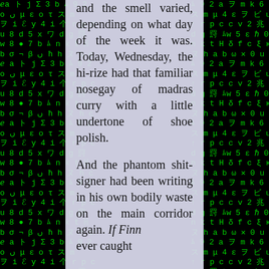[Figure (other): Matrix-style green characters scrolling on black background, left and right columns flanking a central text panel]
and the smell varied, depending on what day of the week it was. Today, Wednesday, the hi-rize had that familiar nosegay of madras curry with a little undertone of shoe polish.

And the phantom shit-signer had been writing in his own bodily waste on the main corridor again. If Finn ever caught